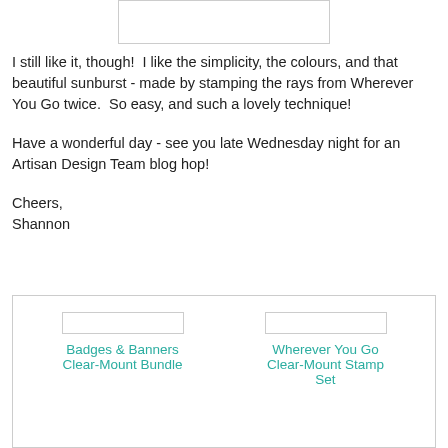[Figure (photo): Partial image visible at top of page, white rectangle with border]
I still like it, though!  I like the simplicity, the colours, and that beautiful sunburst - made by stamping the rays from Wherever You Go twice.  So easy, and such a lovely technique!
Have a wonderful day - see you late Wednesday night for an Artisan Design Team blog hop!
Cheers,
Shannon
[Figure (other): Product box with two items: Badges & Banners Clear-Mount Bundle and Wherever You Go Clear-Mount Stamp Set, shown with placeholder images and teal text links]